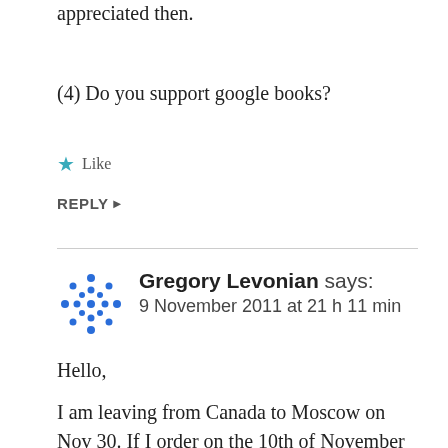appreciated then.
(4) Do you support google books?
★ Like
REPLY ▶
Gregory Levonian says:
9 November 2011 at 21 h 11 min
Hello,
I am leaving from Canada to Moscow on Nov 30. If I order on the 10th of November as you have said will be possible, do you think you can get it to me by the 30th. I need to give it to someone as a Christmas present.